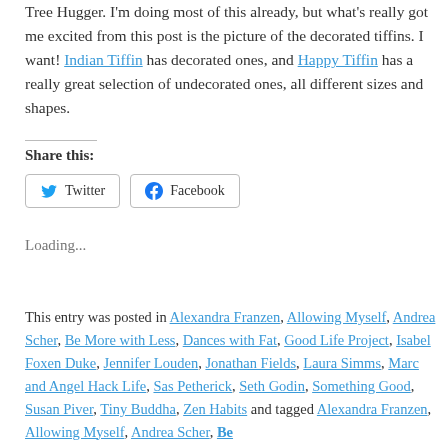Tree Hugger. I'm doing most of this already, but what's really got me excited from this post is the picture of the decorated tiffins. I want! Indian Tiffin has decorated ones, and Happy Tiffin has a really great selection of undecorated ones, all different sizes and shapes.
Share this:
Twitter
Facebook
Loading...
This entry was posted in Alexandra Franzen, Allowing Myself, Andrea Scher, Be More with Less, Dances with Fat, Good Life Project, Isabel Foxen Duke, Jennifer Louden, Jonathan Fields, Laura Simms, Marc and Angel Hack Life, Sas Petherick, Seth Godin, Something Good, Susan Piver, Tiny Buddha, Zen Habits and tagged Alexandra Franzen, Allowing Myself, Andrea Scher, Be